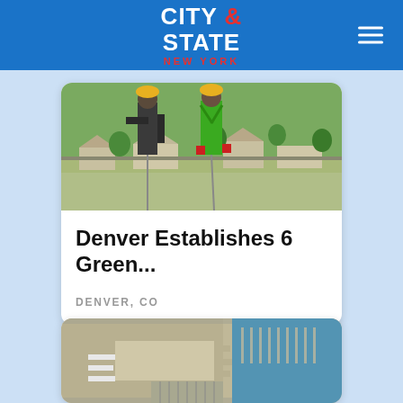[Figure (logo): City & State New York logo with navigation hamburger menu on blue header bar]
[Figure (photo): Two workers in safety harnesses and hard hats on a rooftop, one in black gear and one in a green shirt, with residential neighborhood visible below]
Denver Establishes 6 Green...
DENVER, CO
[Figure (photo): Aerial satellite view of an airport terminal with parked aircraft and a marina/harbor visible to the right]